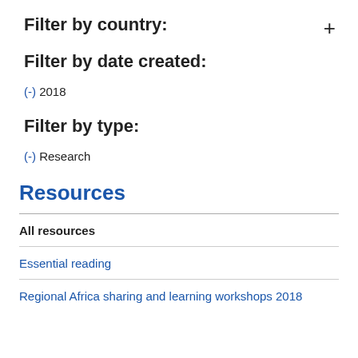Filter by country:
Filter by date created:
(-) 2018
Filter by type:
(-) Research
Resources
All resources
Essential reading
Regional Africa sharing and learning workshops 2018